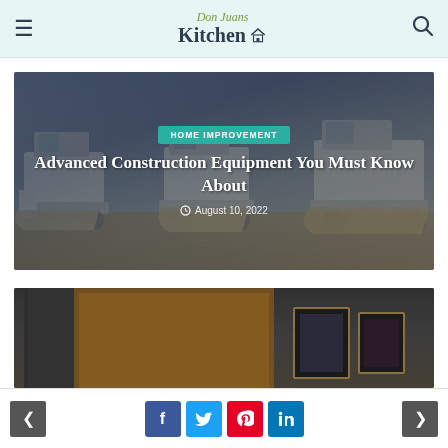Don Juans Kitchen
[Figure (photo): Row of white construction equipment / skid steer loaders parked in a lot with a dark sky background. Overlaid text card with category badge HOME IMPROVEMENT, article title, and date.]
Advanced Construction Equipment You Must Know About
August 10, 2022
[Figure (photo): Interior room photo showing dark walls, warm wood accent lighting along ceiling, and framed artwork on wall.]
Navigation: previous, Facebook, Twitter, Pinterest, LinkedIn, next